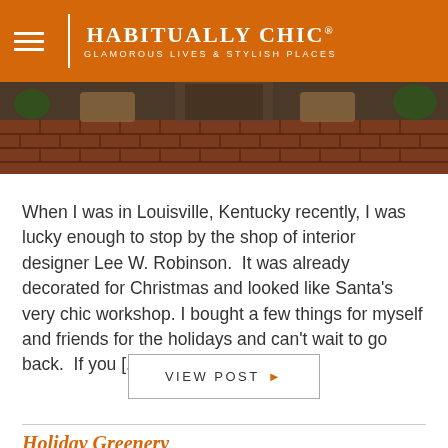HABITUALLY CHIC® GLAMOROUS LIVES & STYLISH PLACES
[Figure (photo): Interior photo showing a brick-floored entryway with wicker baskets and plants, appearing to be a shop decorated for Christmas]
When I was in Louisville, Kentucky recently, I was lucky enough to stop by the shop of interior designer Lee W. Robinson.  It was already decorated for Christmas and looked like Santa's very chic workshop. I bought a few things for myself and friends for the holidays and can't wait to go back.  If you [...]
VIEW POST ▶
Holiday Greenery